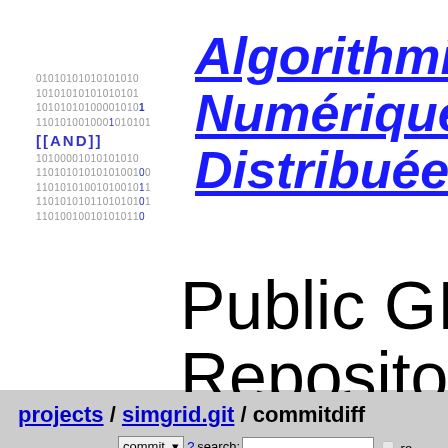[Figure (logo): AND logo with binary digits background showing [[AND]] text in blue, with rows of 0s and 1s around it]
Algorithmique Numérique Distribuée
Public GIT Repository
projects / simgrid.git / commitdiff
commit ▾ ? search: [ ] re
summary | shortlog | log | commit | commitdiff | tree
raw | patch | inline | side by side (parent: c882e24)
remove unsupported characters from mpif.h, for f90 compiler to